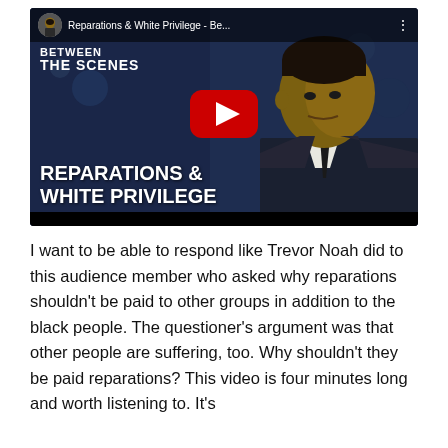[Figure (screenshot): YouTube video thumbnail showing a man in a suit on a studio set. Title bar reads 'Reparations & White Privilege - Be...' with three-dot menu. Channel branding shows 'BETWEEN THE SCENES'. Large text overlaid at bottom reads 'REPARATIONS & WHITE PRIVILEGE'. Red YouTube play button in center.]
I want to be able to respond like Trevor Noah did to this audience member who asked why reparations shouldn't be paid to other groups in addition to the black people. The questioner's argument was that other people are suffering, too. Why shouldn't they be paid reparations? This video is four minutes long and worth listening to. It's